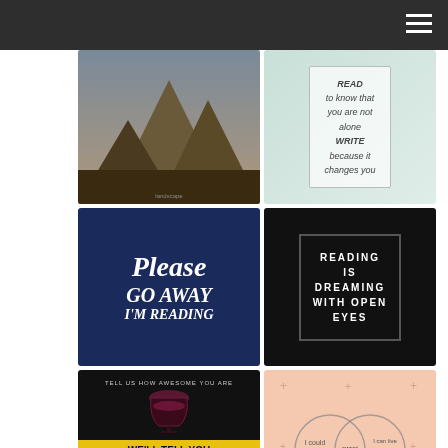Navigation header with hamburger menu
[Figure (photo): Mountain landscape photo with dark tones]
[Figure (photo): White decorative pillow with read/write text]
[Figure (photo): Dark blue square with 'Please Go Away I'm Reading' text]
[Figure (photo): Black square pillow with 'Reading Is Dreaming With Open Eyes' text]
[Figure (photo): Yellow/black graphic - wine quiz 'We'll Tell You Which Book To Read']
[Figure (infographic): Pink Venn diagram illustration]
[Figure (photo): Outdoorsy streaming movies with strong female leads - hiker image]
[Figure (infographic): Hiking: 9 Things You're Forgetting To Do - blue graphic]
[Figure (photo): Five Reasons to Read Playing Big by Tara Mohr - book cover]
[Figure (photo): Partial image at bottom left]